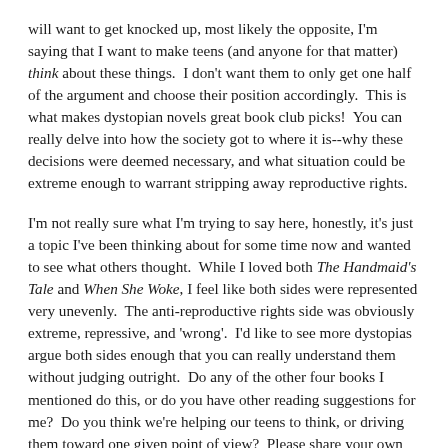will want to get knocked up, most likely the opposite, I'm saying that I want to make teens (and anyone for that matter) think about these things.  I don't want them to only get one half of the argument and choose their position accordingly.  This is what makes dystopian novels great book club picks!  You can really delve into how the society got to where it is--why these decisions were deemed necessary, and what situation could be extreme enough to warrant stripping away reproductive rights.
I'm not really sure what I'm trying to say here, honestly, it's just a topic I've been thinking about for some time now and wanted to see what others thought.  While I loved both The Handmaid's Tale and When She Woke, I feel like both sides were represented very unevenly.  The anti-reproductive rights side was obviously extreme, repressive, and 'wrong'.  I'd like to see more dystopias argue both sides enough that you can really understand them without judging outright.  Do any of the other four books I mentioned do this, or do you have other reading suggestions for me?  Do you think we're helping our teens to think, or driving them toward one given point of view?  Please share your own thoughts on reproductive rights in dystopias.